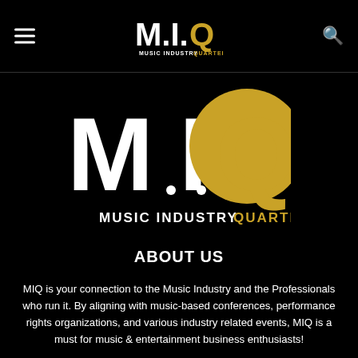MIQ - MUSIC INDUSTRY QUARTERLY (header with hamburger menu and search icon)
[Figure (logo): MIQ Music Industry Quarterly logo — large white M.I. letters with gold Q, subtitle MUSIC INDUSTRY QUARTERLY in white and gold]
ABOUT US
MIQ is your connection to the Music Industry and the Professionals who run it. By aligning with music-based conferences, performance rights organizations, and various industry related events, MIQ is a must for music & entertainment business enthusiasts!